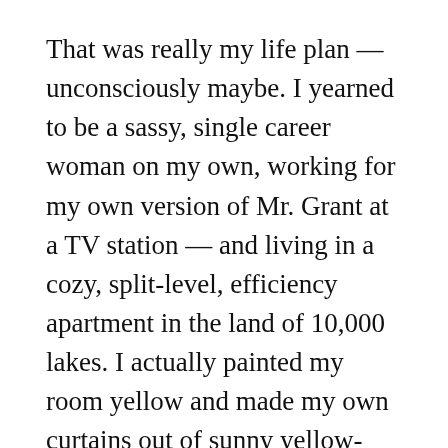That was really my life plan — unconsciously maybe. I yearned to be a sassy, single career woman on my own, working for my own version of Mr. Grant at a TV station — and living in a cozy, split-level, efficiency apartment in the land of 10,000 lakes. I actually painted my room yellow and made my own curtains out of sunny yellow-checked bed sheets I bought at Sanger Harris when I was 13. Eventually, I even chose an internship at the Minneapple's Guthrie Theatre — ostensibly as part of my graduate arts administration program, but it was probably more about my pursuit of my Mary myth. Unfortunately, my Cold War-era company apartment on Loring